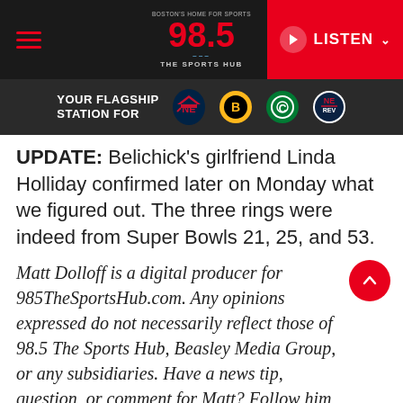[Figure (screenshot): 98.5 The Sports Hub radio station website header with logo, hamburger menu, and LISTEN button]
[Figure (infographic): Dark bar showing YOUR FLAGSHIP STATION FOR with team logos: Patriots, Bruins, Celtics, and Revolution]
UPDATE: Belichick's girlfriend Linda Holliday confirmed later on Monday what we figured out. The three rings were indeed from Super Bowls 21, 25, and 53.
Matt Dolloff is a digital producer for 985TheSportsHub.com. Any opinions expressed do not necessarily reflect those of 98.5 The Sports Hub, Beasley Media Group, or any subsidiaries. Have a news tip, question, or comment for Matt? Follow him on Twitter @mattdolloff or email him at